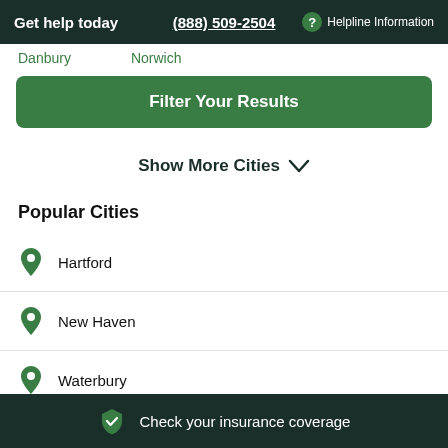Get help today  (888) 509-2504  ? Helpline Information
Danbury  Norwich
Filter Your Results
Show More Cities
Popular Cities
Hartford
New Haven
Waterbury
Check your insurance coverage